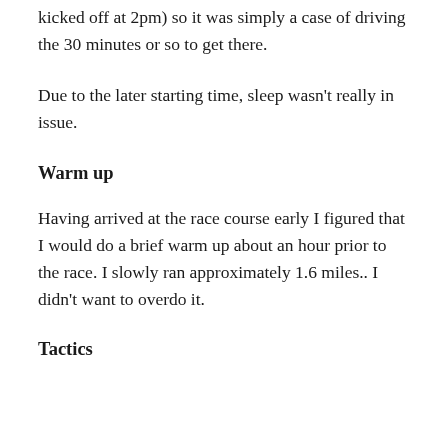kicked off at 2pm) so it was simply a case of driving the 30 minutes or so to get there.
Due to the later starting time, sleep wasn't really in issue.
Warm up
Having arrived at the race course early I figured that I would do a brief warm up about an hour prior to the race. I slowly ran approximately 1.6 miles.. I didn't want to overdo it.
Tactics